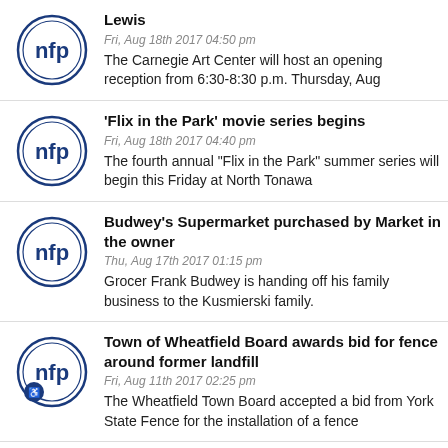Lewis
Fri, Aug 18th 2017 04:50 pm
The Carnegie Art Center will host an opening reception from 6:30-8:30 p.m. Thursday, Aug
'Flix in the Park' movie series begins
Fri, Aug 18th 2017 04:40 pm
The fourth annual "Flix in the Park" summer series will begin this Friday at North Tonawa
Budwey's Supermarket purchased by Market in the owner
Thu, Aug 17th 2017 01:15 pm
Grocer Frank Budwey is handing off his family business to the Kusmierski family.
Town of Wheatfield Board awards bid for fence around former landfill
Fri, Aug 11th 2017 02:25 pm
The Wheatfield Town Board accepted a bid from York State Fence for the installation of a fence